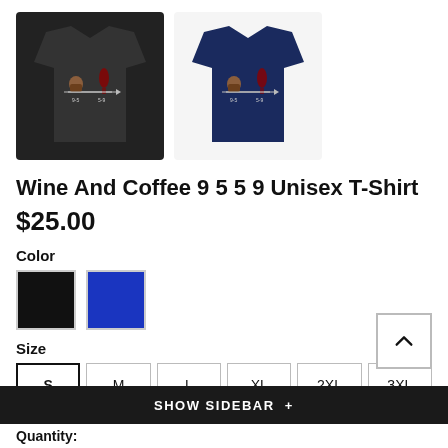[Figure (photo): Two t-shirts displayed side by side: left is black, right is navy blue, both featuring a 'Wine And Coffee 9 5 5 9' graphic with a coffee cup, wine glass, and arrow balance design.]
Wine And Coffee 9 5 5 9 Unisex T-Shirt
$25.00
Color
[Figure (other): Two color swatches: black square and royal blue square]
Size
S M L XL 2XL 3XL
SHOW SIDEBAR +
Quantity: